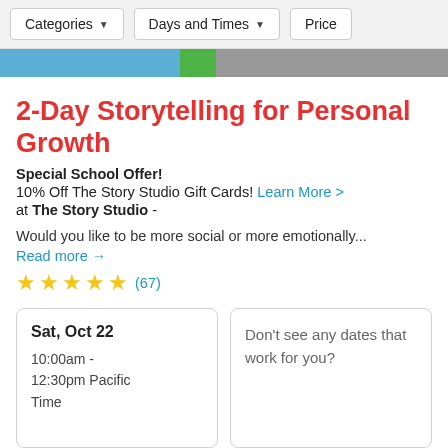Categories ▾   Days and Times ▾   Price
[Figure (photo): Partial image strip showing blurred people; green and blue tones]
2-Day Storytelling for Personal Growth
Special School Offer!
10% Off The Story Studio Gift Cards! Learn More >
at The Story Studio -
Would you like to be more social or more emotionally...
Read more →
★★★★★ (67)
| Sat, Oct 22
10:00am - 12:30pm Pacific Time | Don't see any dates that work for you? |